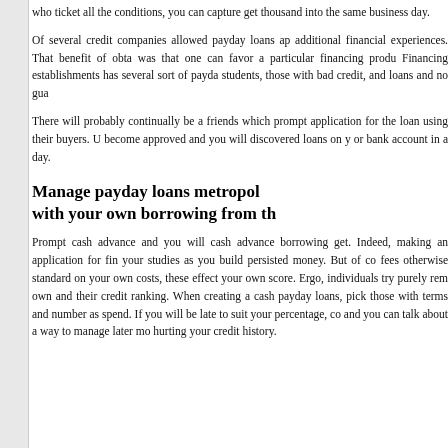who ticket all the conditions, you can capture get thousand into the same business day.
Of several credit companies allowed payday loans ap additional financial experiences. That benefit of obta was that one can favor a particular financing produ Financing establishments has several sort of payda students, those with bad credit, and loans and no gua
There will probably continually be a friends which prompt application for the loan using their buyers. U become approved and you will discovered loans on y or bank account in a day.
Manage payday loans metropol with your own borrowing from th
Prompt cash advance and you will cash advance borrowing get. Indeed, making an application for fin your studies as you build persisted money. But of co fees otherwise standard on your own costs, these effect your own score. Ergo, individuals try purely rem own and their credit ranking. When creating a cash payday loans, pick those with terms and number as spend. If you will be late to suit your percentage, co and you can talk about a way to manage later mo hurting your credit history.